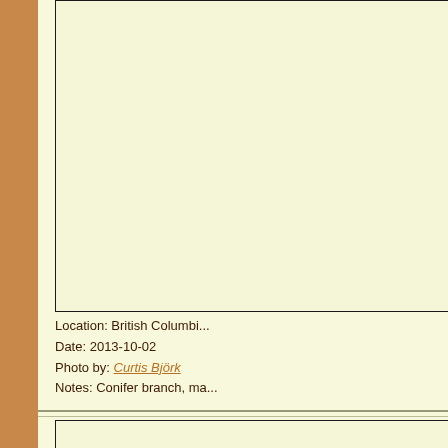[Figure (photo): Large photo placeholder box (image area, mostly empty/cream colored with black border)]
Location: British Columbia
Date: 2013-10-02
Photo by: Curtis Björk
Notes: Conifer branch, ma...
[Figure (photo): Second photo placeholder box at bottom of page]